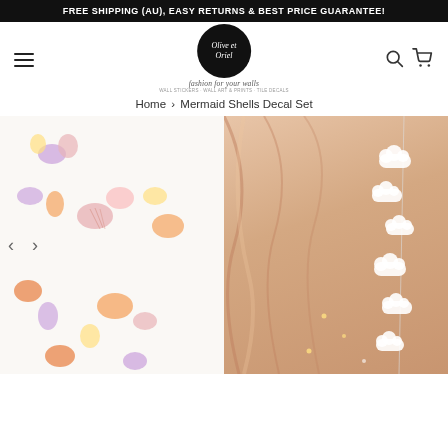FREE SHIPPING (AU), EASY RETURNS & BEST PRICE GUARANTEE!
[Figure (logo): Olive et Oriel logo - circular black badge with script text, tagline 'fashion for your walls']
Home › Mermaid Shells Decal Set
[Figure (photo): Product image showing colorful mermaid shell wall decals on white wall (left half) and a room scene with peach curtain and cloud mobile (right half), with navigation arrows]